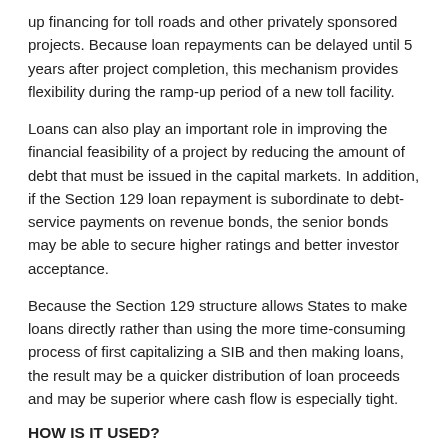up financing for toll roads and other privately sponsored projects. Because loan repayments can be delayed until 5 years after project completion, this mechanism provides flexibility during the ramp-up period of a new toll facility.
Loans can also play an important role in improving the financial feasibility of a project by reducing the amount of debt that must be issued in the capital markets. In addition, if the Section 129 loan repayment is subordinate to debt-service payments on revenue bonds, the senior bonds may be able to secure higher ratings and better investor acceptance.
Because the Section 129 structure allows States to make loans directly rather than using the more time-consuming process of first capitalizing a SIB and then making loans, the result may be a quicker distribution of loan proceeds and may be superior where cash flow is especially tight.
HOW IS IT USED?
If a project meets the test for eligibility, a loan can be made at any time. Federal-aid funds for loans may be authorized in increments through advance construction procedures and are obligated in conjunction with each incremental authorization. The State is